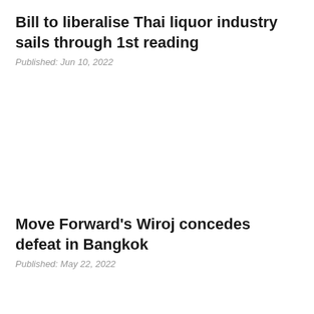Bill to liberalise Thai liquor industry sails through 1st reading
Published: Jun 10, 2022
Move Forward's Wiroj concedes defeat in Bangkok
Published: May 22, 2022